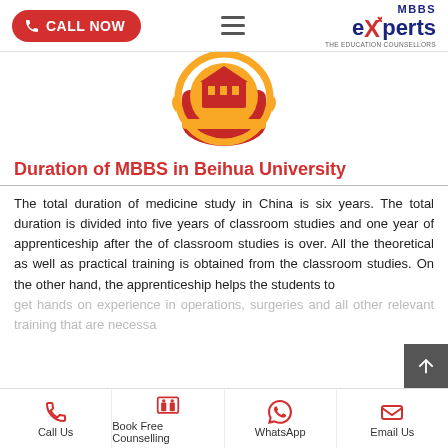CALL NOW | MBBS experts
[Figure (logo): Beihua University emblem — red and gold circular crest with building motif]
Duration of MBBS in Beihua University
The total duration of medicine study in China is six years. The total duration is divided into five years of classroom studies and one year of apprenticeship after the of classroom studies is over. All the theoretical as well as practical training is obtained from the classroom studies. On the other hand, the apprenticeship helps the students to get hands on experience in operations, surgeries and all other relevant training that are necessa...
Call Us | Book Free Counselling | WhatsApp | Email Us